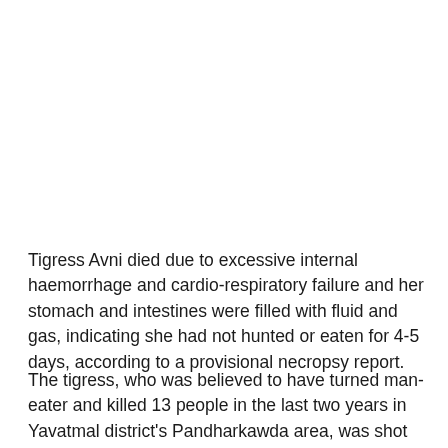Tigress Avni died due to excessive internal haemorrhage and cardio-respiratory failure and her stomach and intestines were filled with fluid and gas, indicating she had not hunted or eaten for 4-5 days, according to a provisional necropsy report.
The tigress, who was believed to have turned man-eater and killed 13 people in the last two years in Yavatmal district's Pandharkawda area, was shot dead in Borati forest there last Friday.